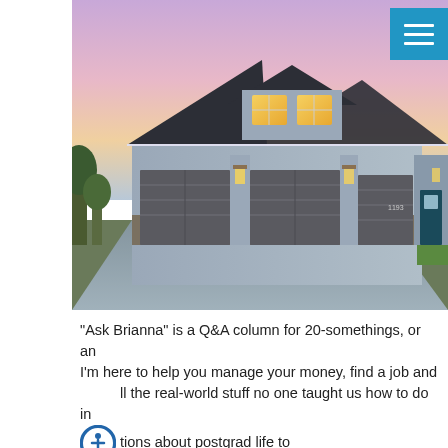[Figure (photo): Photograph of a large two-story craftsman-style house with dark gray roof, gray siding, three-car garage with dark gray doors, stone accents, illuminated windows, and a wet driveway reflecting golden light. Taken at dusk with a colorful purple-pink sky.]
“Ask Brianna” is a Q&A column for 20-somethings, or an… I’m here to help you manage your money, find a job and … all the real-world stuff no one taught us how to do in … tions about postgrad life to askbrianna@nerdwalle…
This week’s question: